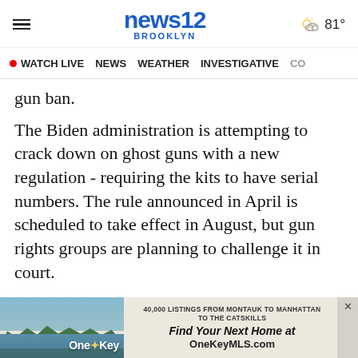news12 BROOKLYN | 81°
WATCH LIVE  NEWS  WEATHER  INVESTIGATIVE  CO
gun ban.
The Biden administration is attempting to crack down on ghost guns with a new regulation - requiring the kits to have serial numbers. The rule announced in April is scheduled to take effect in August, but gun rights groups are planning to challenge it in court.
Aidan Johnston of the group Gun Owners of
[Figure (photo): Advertisement banner for OneKeyMLS.com: 40,000 listings from Montauk to Manhattan to the Catskills. Find Your Next Home at OneKeyMLS.com]